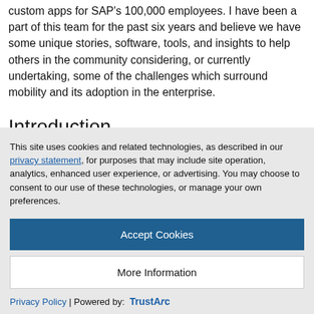custom apps for SAP's 100,000 employees. I have been a part of this team for the past six years and believe we have some unique stories, software, tools, and insights to help others in the community considering, or currently undertaking, some of the challenges which surround mobility and its adoption in the enterprise.
Introduction
This site uses cookies and related technologies, as described in our privacy statement, for purposes that may include site operation, analytics, enhanced user experience, or advertising. You may choose to consent to our use of these technologies, or manage your own preferences.
Accept Cookies
More Information
Privacy Policy | Powered by: TrustArc